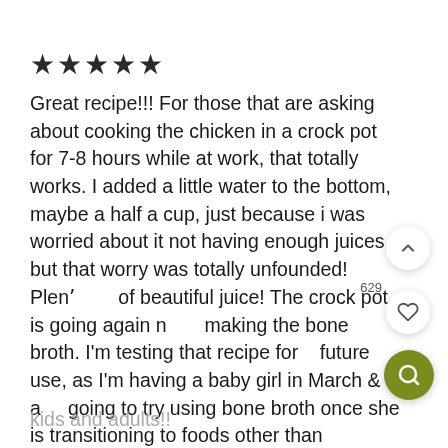[Figure (other): Five filled black stars rating]
Great recipe!!! For those that are asking about cooking the chicken in a crock pot for 7-8 hours while at work, that totally works. I added a little water to the bottom, maybe a half a cup, just because i was worried about it not having enough juices, but that worry was totally unfounded! Plenty of beautiful juice! The crock pot is going again now making the bone broth. I'm testing that recipe for future use, as I'm having a baby girl in March & am going to try using bone broth once she is transitioning to foods other than breastmilk. Supposed to be very healthy for babies as well as
kids and adults!!